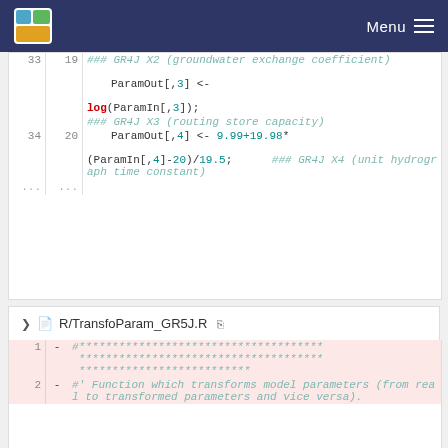Menu
[Figure (screenshot): Code block showing R code lines 33-34 with ParamOut assignments for GR4J parameters X2, X3, X4, followed by ellipsis rows]
R/TransfoParam_GR5J.R
[Figure (screenshot): Diff code block showing lines 1-2 of TransfoParam_GR5J.R with deleted lines marked in pink: line 1 has asterisk comment block, line 2 has roxygen comment about function transforming model parameters]